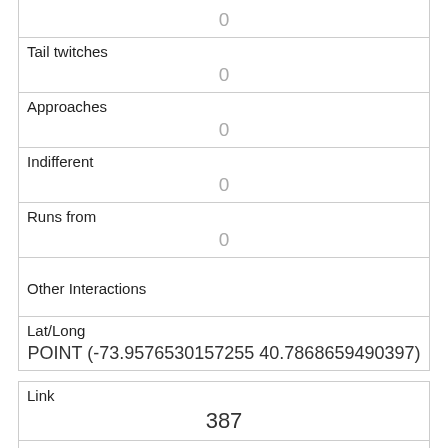|  | 0 |
| Tail twitches | 0 |
| Approaches | 0 |
| Indifferent | 0 |
| Runs from | 0 |
| Other Interactions |  |
| Lat/Long | POINT (-73.9576530157255 40.7868659490397) |
| Link | 387 |
| rowid | 387 |
| longitude | -73.9578316525492 |